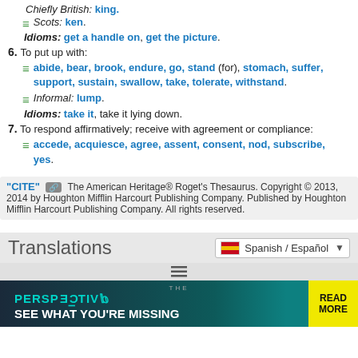Chiefly British: king.
Scots: ken.
Idioms: get a handle on, get the picture.
6. To put up with:
abide, bear, brook, endure, go, stand (for), stomach, suffer, support, sustain, swallow, take, tolerate, withstand.
Informal: lump.
Idioms: take it, take it lying down.
7. To respond affirmatively; receive with agreement or compliance:
accede, acquiesce, agree, assent, consent, nod, subscribe, yes.
"CITE" The American Heritage® Roget's Thesaurus. Copyright © 2013, 2014 by Houghton Mifflin Harcourt Publishing Company. Published by Houghton Mifflin Harcourt Publishing Company. All rights reserved.
Translations
Spanish / Español
[Figure (infographic): Advertisement banner: THE PERSPECTIVE - SEE WHAT YOU'RE MISSING - READ MORE]